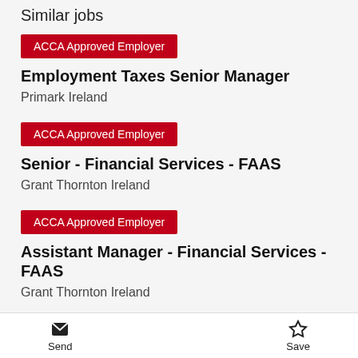Similar jobs
ACCA Approved Employer
Employment Taxes Senior Manager
Primark Ireland
ACCA Approved Employer
Senior - Financial Services - FAAS
Grant Thornton Ireland
ACCA Approved Employer
Assistant Manager - Financial Services - FAAS
Grant Thornton Ireland
Send  Save